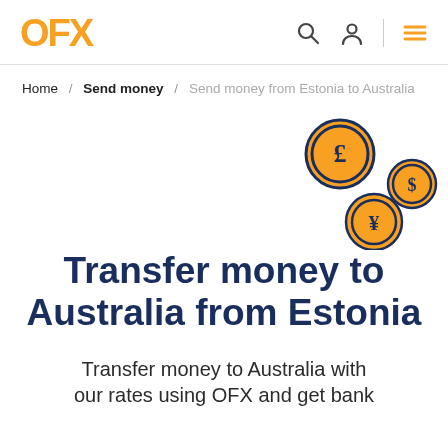OFX
Home / Send money / Send money from Estonia to Australia
[Figure (illustration): Three currency coins with symbols: pound (£), dollar ($), and yen (¥) arranged decoratively on the right side of the page]
Transfer money to Australia from Estonia
Transfer money to Australia with our rates using OFX and get bank